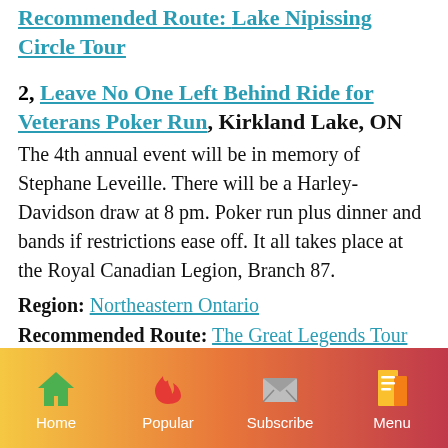Recommended Route: Lake Nipissing Circle Tour
2, Leave No One Left Behind Ride for Veterans Poker Run, Kirkland Lake, ON
The 4th annual event will be in memory of Stephane Leveille. There will be a Harley-Davidson draw at 8 pm. Poker run plus dinner and bands if restrictions ease off. It all takes place at the Royal Canadian Legion, Branch 87.
Region: Northeastern Ontario
Recommended Route: The Great Legends Tour
Home  Popular  Subscribe  Menu